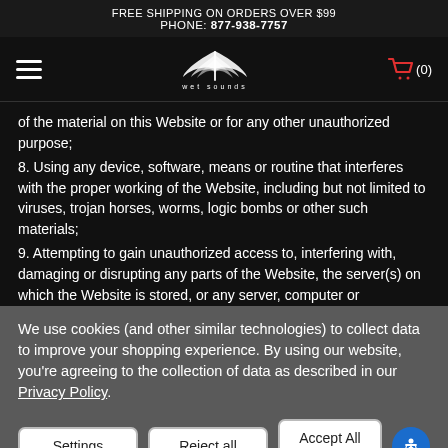FREE SHIPPING ON ORDERS OVER $99
PHONE: 877-938-7757
[Figure (logo): Wet Sounds logo with stylized bird/wave graphic and text 'wet sounds' below]
of the material on this Website or for any other unauthorized purpose;
8. Using any device, software, means or routine that interferes with the proper working of the Website, including but not limited to viruses, trojan horses, worms, logic bombs or other such materials;
9. Attempting to gain unauthorized access to, interfering with, damaging or disrupting any parts of the Website, the server(s) on which the Website is stored, or any server, computer or
We use cookies (and other similar technologies) to collect data to improve your shopping experience. By using our website, you're agreeing to the collection of data as described in our Privacy Policy.
Settings | Reject all | Accept All Cookies